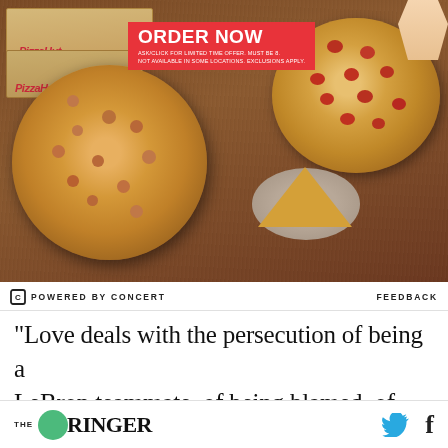[Figure (photo): Pizza Hut advertisement showing two whole pizzas on wooden surfaces and one pizza slice on a plate, with an 'ORDER NOW' red banner and fine print text. Pizza Hut boxes visible in background.]
POWERED BY CONCERT   FEEDBACK
“Love deals with the persecution of being a LeBron teammate, of being blamed, of dealing
[Figure (logo): The Ringer logo with green circle and social media icons (Twitter bird and Facebook f)]